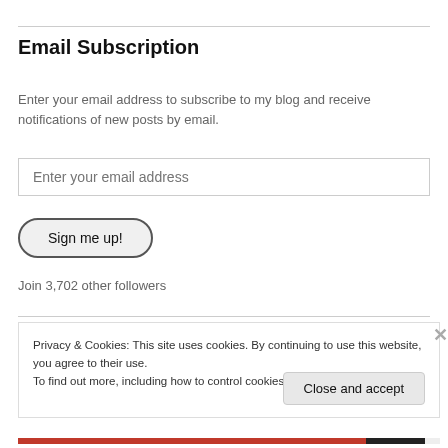Email Subscription
Enter your email address to subscribe to my blog and receive notifications of new posts by email.
Enter your email address
Sign me up!
Join 3,702 other followers
Privacy & Cookies: This site uses cookies. By continuing to use this website, you agree to their use.
To find out more, including how to control cookies, see here: Cookie Policy
Close and accept